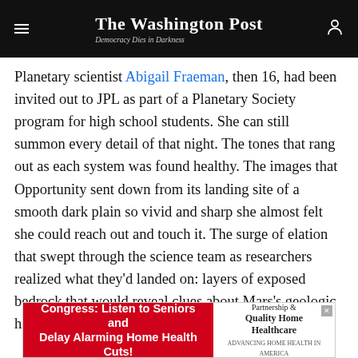The Washington Post — Democracy Dies in Darkness
Planetary scientist Abigail Fraeman, then 16, had been invited out to JPL as part of a Planetary Society program for high school students. She can still summon every detail of that night. The tones that rang out as each system was found healthy. The images that Opportunity sent down from its landing site of a smooth dark plain so vivid and sharp she almost felt she could reach out and touch it. The surge of elation that swept through the science team as researchers realized what they'd landed on: layers of exposed bedrock that would reveal clues about Mars's geologic history stretching back billions of years.
[Figure (other): Advertisement banner: 'Congress: Listen to Seniors and Delay Alarming Home Health Cuts!' with Partnership for Quality Home Healthcare logo]